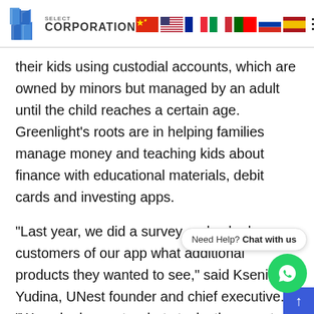BMG Select Corporation — navigation header with language flags
their kids using custodial accounts, which are owned by minors but managed by an adult until the child reaches a certain age. Greenlight's roots are in helping families manage money and teaching kids about finance with educational materials, debit cards and investing apps.
“Last year, we did a survey and asked customers of our app what additional products they wanted to see,” said Ksenia Yudina, UNest founder and chief executive. “We asked parents what stocks they wanted to buy right now... Most of them said, ‘We don’t want to buy stocks. We